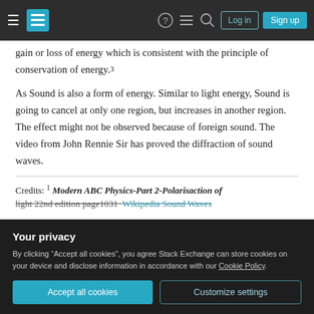Stack Exchange navigation bar with hamburger menu, logo, help, chat, search, Log in, Sign up buttons
gain or loss of energy which is consistent with the principle of conservation of energy.3
As Sound is also a form of energy. Similar to light energy, Sound is going to cancel at only one region, but increases in another region. The effect might not be observed because of foreign sound. The video from John Rennie Sir has proved the diffraction of sound waves.
Credits: 1 Modern ABC Physics-Part 2-Polarisaction of light 22nd edition page1031  2 Wikipedia Sound Waves
Your privacy
By clicking "Accept all cookies", you agree Stack Exchange can store cookies on your device and disclose information in accordance with our Cookie Policy.
Accept all cookies   Customize settings